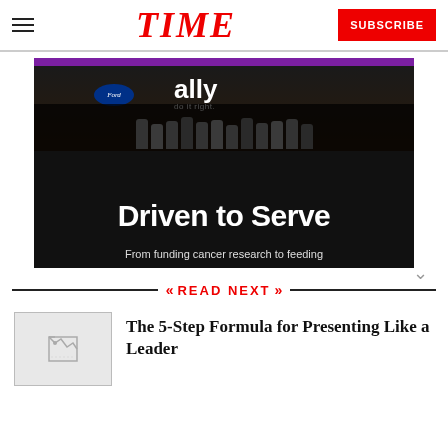TIME
[Figure (screenshot): Video thumbnail showing 'Driven to Serve' event with 'ally do it right.' branding. Text reads: 'Driven to Serve' and 'From funding cancer research to feeding']
READ NEXT
[Figure (photo): Broken/loading image thumbnail for article]
The 5-Step Formula for Presenting Like a Leader